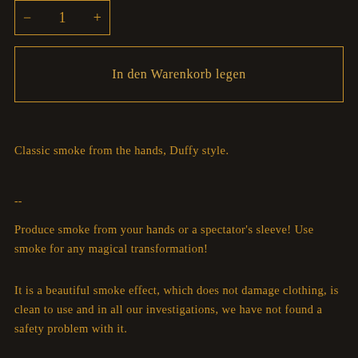[Figure (other): Quantity selector widget with minus button, number 1, and plus button, bordered in gold on dark background]
In den Warenkorb legen
Classic smoke from the hands, Duffy style.
--
Produce smoke from your hands or a spectator's sleeve! Use smoke for any magical transformation!
It is a beautiful smoke effect, which does not damage clothing, is clean to use and in all our investigations, we have not found a safety problem with it.